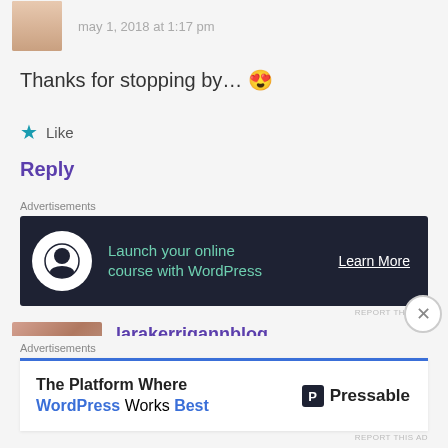may 1, 2018 at 1:17 pm
Thanks for stopping by… 😍
Like
Reply
Advertisements
[Figure (screenshot): Dark banner ad: Launch your online course with WordPress — Learn More]
REPORT THIS AD
larakerrigannblog
may 1, 2018 at 6:27 pm
Advertisements
[Figure (screenshot): White banner ad: The Platform Where WordPress Works Best — Pressable]